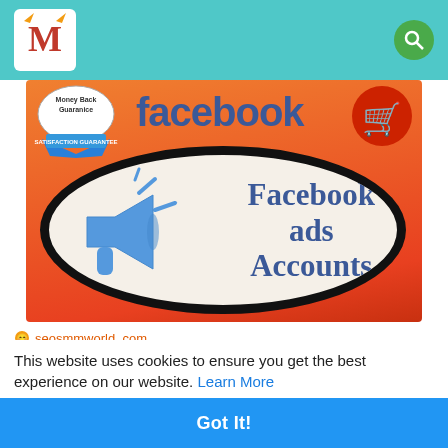seosmmworld.com header with logo and search icon
[Figure (illustration): Facebook Ads Accounts promotional banner. Orange-red gradient background. 'facebook' text in blue at top. Money Back Guarantee badge on left, shopping cart on right. Central oval with megaphone icon and text 'Facebook ads Accounts' in dark blue serif font.]
seosmmworld. com
Buy Facebook Ads Accounts - 100% Verified Unlimite...
Buy Facebook ads accounts with attached a verified Business
This website uses cookies to ensure you get the best experience on our website. Learn More
Got It!